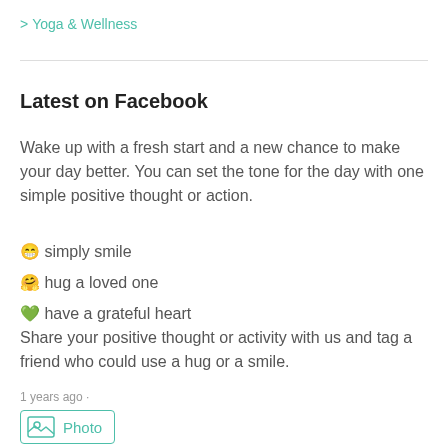> Yoga & Wellness
Latest on Facebook
Wake up with a fresh start and a new chance to make your day better. You can set the tone for the day with one simple positive thought or action.
😁 simply smile
🤗 hug a loved one
💚 have a grateful heart
Share your positive thought or activity with us and tag a friend who could use a hug or a smile.
1 years ago ·
[Figure (other): Photo button with image icon and teal text label 'Photo']